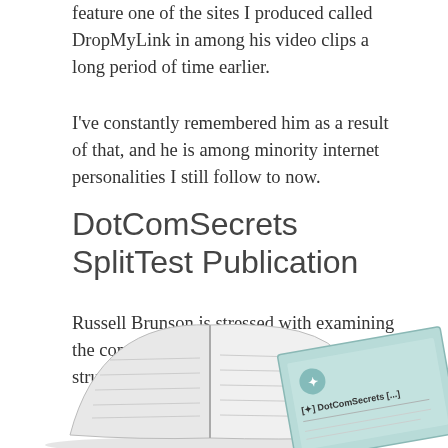feature one of the sites I produced called DropMyLink in among his video clips a long period of time earlier.
I've constantly remembered him as a result of that, and he is among minority internet personalities I still follow to now.
DotComSecrets SplitTest Publication
Russell Brunson is stressed with examining the consumer purchasing actions through structure sales funnels.
[Figure (photo): Photo of an open book and a DotComSecrets publication card/booklet partially visible at the bottom of the page.]